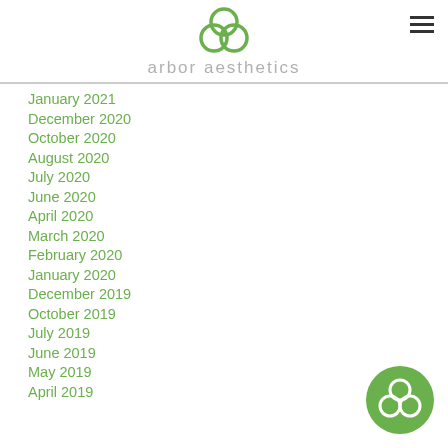[Figure (logo): Arbor Aesthetics logo: three overlapping circles in green above text 'arbor aesthetics' in light gray]
January 2021
December 2020
October 2020
August 2020
July 2020
June 2020
April 2020
March 2020
February 2020
January 2020
December 2019
October 2019
July 2019
June 2019
May 2019
April 2019
[Figure (logo): Arbor Aesthetics circular badge logo in green, bottom right corner]